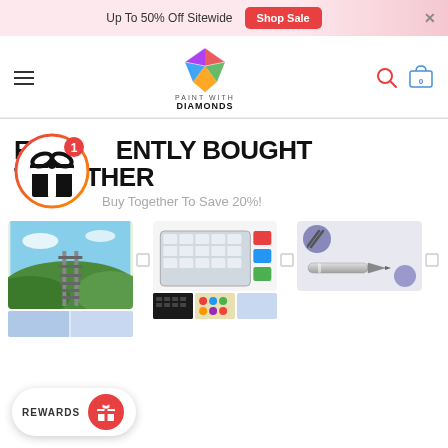Up To 50% Off Sitewide  Shop Sale  ×
[Figure (logo): Paint With Diamonds logo — colorful diamond gem icon above stylized text reading PAINT WITH DIAMONDS]
FREQUENTLY BOUGHT TOGETHER
Buy Together To Save 20%!
[Figure (photo): Three product images in a row: (1) diamond painting canvas showing railway tracks, (2) diamond painting storage case with accessories, (3) diamond painting stylus/pen tool]
[Figure (infographic): Rewards popup button at bottom left with label REWARDS and red circle icon]